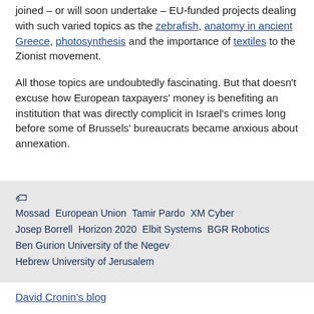joined – or will soon undertake – EU-funded projects dealing with such varied topics as the zebrafish, anatomy in ancient Greece, photosynthesis and the importance of textiles to the Zionist movement.
All those topics are undoubtedly fascinating. But that doesn't excuse how European taxpayers' money is benefiting an institution that was directly complicit in Israel's crimes long before some of Brussels' bureaucrats became anxious about annexation.
Mossad  European Union  Tamir Pardo  XM Cyber  Josep Borrell  Horizon 2020  Elbit Systems  BGR Robotics  Ben Gurion University of the Negev  Hebrew University of Jerusalem
David Cronin's blog